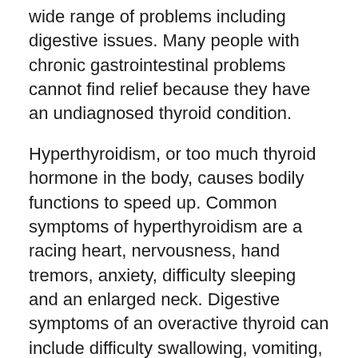wide range of problems including digestive issues. Many people with chronic gastrointestinal problems cannot find relief because they have an undiagnosed thyroid condition.
Hyperthyroidism, or too much thyroid hormone in the body, causes bodily functions to speed up. Common symptoms of hyperthyroidism are a racing heart, nervousness, hand tremors, anxiety, difficulty sleeping and an enlarged neck. Digestive symptoms of an overactive thyroid can include difficulty swallowing, vomiting, diarrhea, lactose intolerance, liver problems, H. pylori bacterial infection and weight loss.
Hypothyroidism, or too little thyroid hormone in